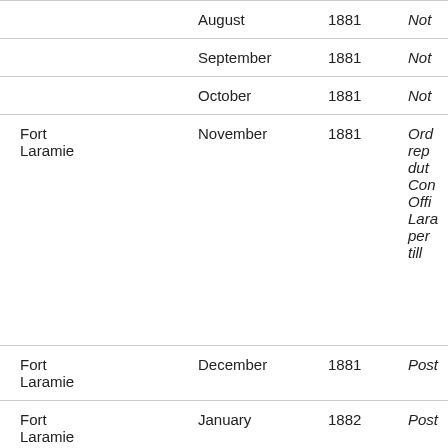| Location | Month | Year | Notes |
| --- | --- | --- | --- |
|  | August | 1881 | Not[...] |
|  | September | 1881 | Not[...] |
|  | October | 1881 | Not[...] |
| Fort Laramie | November | 1881 | Ord rep duty Com Offi Lara per till |
| Fort Laramie | December | 1881 | Post[...] |
| Fort Laramie | January | 1882 | Post[...] |